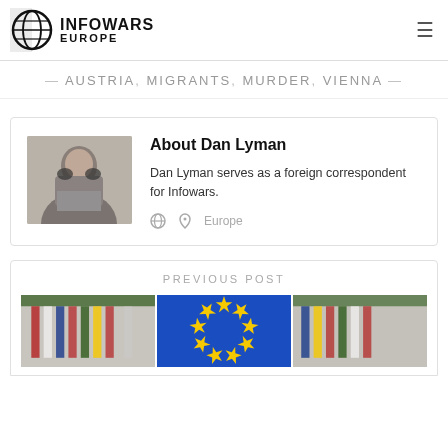INFOWARS EUROPE
— AUSTRIA, MIGRANTS, MURDER, VIENNA —
About Dan Lyman
Dan Lyman serves as a foreign correspondent for Infowars.
Europe
PREVIOUS POST